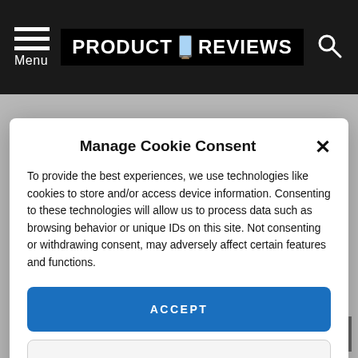PRODUCT REVIEWS — Menu / Search navigation header
Manage Cookie Consent
To provide the best experiences, we use technologies like cookies to store and/or access device information. Consenting to these technologies will allow us to process data such as browsing behavior or unique IDs on this site. Not consenting or withdrawing consent, may adversely affect certain features and functions.
ACCEPT
VIEW PREFERENCES
Cookie Policy   Privacy Policy
can tell you just what this update changes.
Less than an hour ago Infinity Ward's community